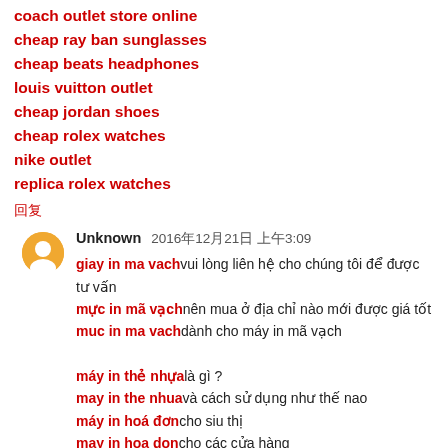coach outlet store online
cheap ray ban sunglasses
cheap beats headphones
louis vuitton outlet
cheap jordan shoes
cheap rolex watches
nike outlet
replica rolex watches
回复
Unknown 2016年12月21日 上午3:09
giay in ma vachvui lòng liên hệ cho chúng tôi để được tư vấn
mực in mã vạchnên mua ở địa chỉ nào mới được giá tốt
muc in ma vachdành cho máy in mã vạch
máy in thẻ nhựalà gì ?
may in the nhuavà cách sử dụng như thế nao
máy in hoá đơncho siu thị
may in hoa doncho các cửa hàng